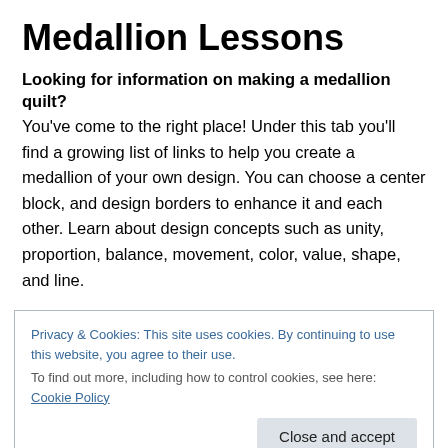Medallion Lessons
Looking for information on making a medallion quilt? You've come to the right place! Under this tab you'll find a growing list of links to help you create a medallion of your own design. You can choose a center block, and design borders to enhance it and each other. Learn about design concepts such as unity, proportion, balance, movement, color, value, shape, and line.
Some links will be replaced over time, as I develop better
Privacy & Cookies: This site uses cookies. By continuing to use this website, you agree to their use. To find out more, including how to control cookies, see here: Cookie Policy
covered? Drop me an email — I'll either point you to